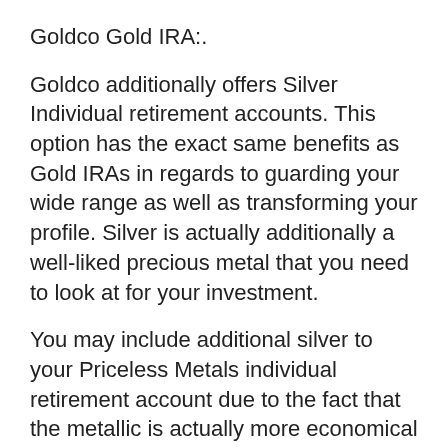Goldco Gold IRA:.
Goldco additionally offers Silver Individual retirement accounts. This option has the exact same benefits as Gold IRAs in regards to guarding your wide range as well as transforming your profile. Silver is actually additionally a well-liked precious metal that you need to look at for your investment.
You may include additional silver to your Priceless Metals individual retirement account due to the fact that the metallic is actually more economical as compared to gold. You can easily receive more silver pubs and also pieces for the exact same rate.
IRS rules dictate that for silver to be